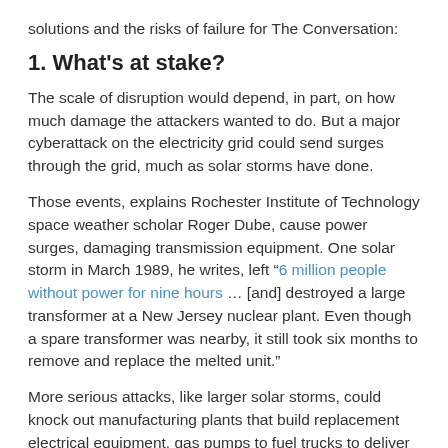solutions and the risks of failure for The Conversation:
1. What's at stake?
The scale of disruption would depend, in part, on how much damage the attackers wanted to do. But a major cyberattack on the electricity grid could send surges through the grid, much as solar storms have done.
Those events, explains Rochester Institute of Technology space weather scholar Roger Dube, cause power surges, damaging transmission equipment. One solar storm in March 1989, he writes, left “6 million people without power for nine hours … [and] destroyed a large transformer at a New Jersey nuclear plant. Even though a spare transformer was nearby, it still took six months to remove and replace the melted unit.”
More serious attacks, like larger solar storms, could knock out manufacturing plants that build replacement electrical equipment, gas pumps to fuel trucks to deliver the material and even “the machinery that extracts oil from the ground